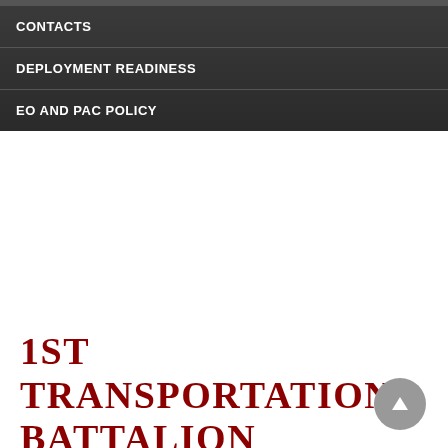CONTACTS
DEPLOYMENT READINESS
EO AND PAC POLICY
1ST TRANSPORTATION BATTALION LEADERS